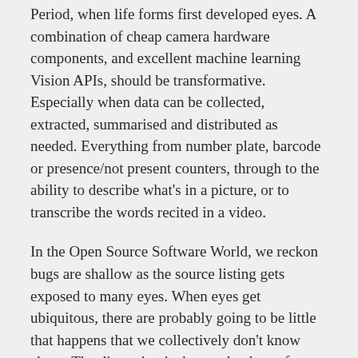Period, when life forms first developed eyes. A combination of cheap camera hardware components, and excellent machine learning Vision APIs, should be transformative. Especially when data can be collected, extracted, summarised and distributed as needed. Everything from number plate, barcode or presence/not present counters, through to the ability to describe what's in a picture, or to transcribe the words recited in a video.
In the Open Source Software World, we reckon bugs are shallow as the source listing gets exposed to many eyes. When eyes get ubiquitous, there are probably going to be little that happens that we collectively don't know about. The disruption is then at the door of privacy legislation and practice.
Artificial Intelligence for Services. The whole shebang in the article relates back to BOTs. I personally think it...